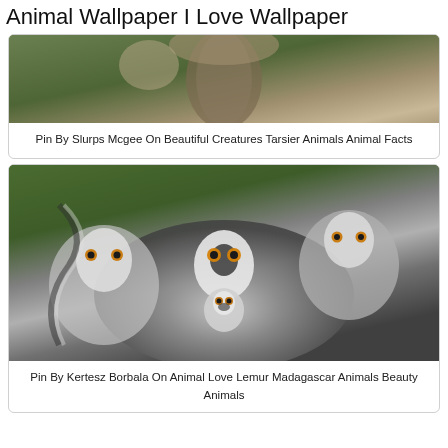Animal Wallpaper I Love Wallpaper
[Figure (photo): Close-up photo of a tarsier animal clinging to a tree branch, with blurred green background]
Pin By Slurps Mcgee On Beautiful Creatures Tarsier Animals Animal Facts
[Figure (photo): Group of ring-tailed lemurs with distinctive black and white markings and orange eyes, clustered together with green background]
Pin By Kertesz Borbala On Animal Love Lemur Madagascar Animals Beauty Animals